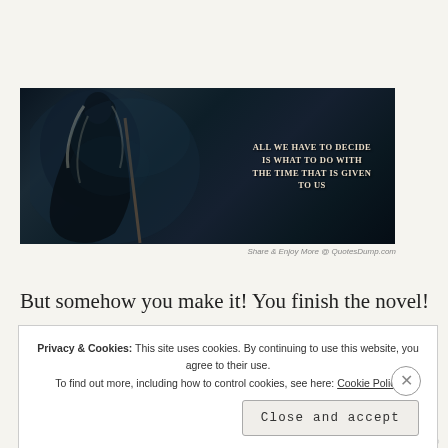[Figure (photo): Dark cinematic image showing a robed figure with long white hair and a staff, resembling Gandalf from Lord of the Rings, with text overlay reading: 'ALL WE HAVE TO DECIDE IS WHAT TO DO WITH THE TIME THAT IS GIVEN TO US']
Share & Enjoy More @ QuotesDump.com
But somehow you make it! You finish the novel! Now all that's
Privacy & Cookies: This site uses cookies. By continuing to use this website, you agree to their use.
To find out more, including how to control cookies, see here: Cookie Policy
Close and accept
HURRYTHINK.CO